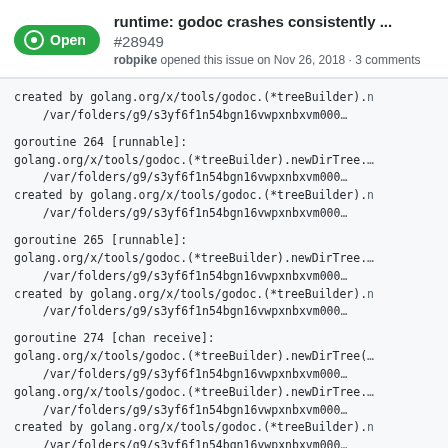runtime: godoc crashes consistently ... #28949
robpike opened this issue on Nov 26, 2018 · 3 comments
created by golang.org/x/tools/godoc.(*treeBuilder).
	/var/folders/g9/s3yf6f1n54bgn16vwpxnbxvm000

goroutine 264 [runnable]:
golang.org/x/tools/godoc.(*treeBuilder).newDirTree.
	/var/folders/g9/s3yf6f1n54bgn16vwpxnbxvm000
created by golang.org/x/tools/godoc.(*treeBuilder).
	/var/folders/g9/s3yf6f1n54bgn16vwpxnbxvm000

goroutine 265 [runnable]:
golang.org/x/tools/godoc.(*treeBuilder).newDirTree.
	/var/folders/g9/s3yf6f1n54bgn16vwpxnbxvm000
created by golang.org/x/tools/godoc.(*treeBuilder).
	/var/folders/g9/s3yf6f1n54bgn16vwpxnbxvm000

goroutine 274 [chan receive]:
golang.org/x/tools/godoc.(*treeBuilder).newDirTree(
	/var/folders/g9/s3yf6f1n54bgn16vwpxnbxvm000
golang.org/x/tools/godoc.(*treeBuilder).newDirTree.
	/var/folders/g9/s3yf6f1n54bgn16vwpxnbxvm000
created by golang.org/x/tools/godoc.(*treeBuilder).
	/var/folders/g9/s3yf6f1n54bgn16vwpxnbxvm000